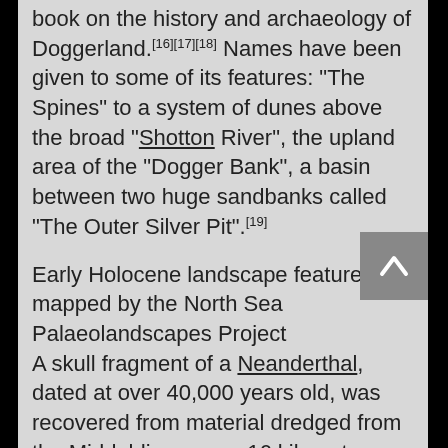book on the history and archaeology of Doggerland.[16][17][18] Names have been given to some of its features: "The Spines" to a system of dunes above the broad "Shotton River", the upland area of the "Dogger Bank", a basin between two huge sandbanks called "The Outer Silver Pit".[19]
Early Holocene landscape features mapped by the North Sea Palaeolandscapes Project
A skull fragment of a Neanderthal, dated at over 40,000 years old, was recovered from material dredged from the Middeldiep, some 16 kilometres (10 mi) off the coast of Zeeland, and exhibited in Leiden in 2009.[20] In March 2010 it was reported that recognition of the potential archaeological importance of the area could affect the future development of offshore wind farms.